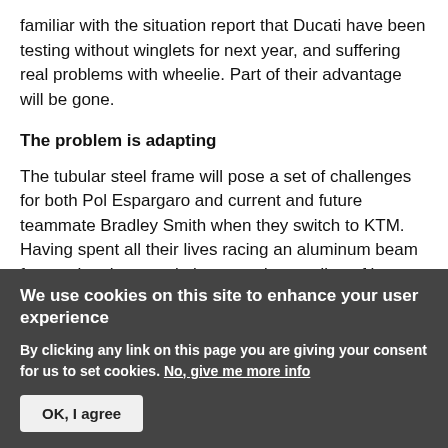familiar with the situation report that Ducati have been testing without winglets for next year, and suffering real problems with wheelie. Part of their advantage will be gone.
The problem is adapting
The tubular steel frame will pose a set of challenges for both Pol Espargaro and current and future teammate Bradley Smith when they switch to KTM. Having spent all their lives racing an aluminum beam frame, they have an intimate understanding of how that frame feels and responds. A trellis frame, such as the KTM RC16 uses,
We use cookies on this site to enhance your user experience
By clicking any link on this page you are giving your consent for us to set cookies. No, give me more info
OK, I agree